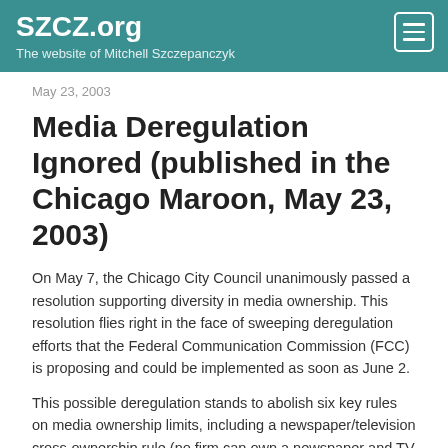SZCZ.org
The website of Mitchell Szczepanczyk
May 23, 2003
Media Deregulation Ignored (published in the Chicago Maroon, May 23, 2003)
On May 7, the Chicago City Council unanimously passed a resolution supporting diversity in media ownership. This resolution flies right in the face of sweeping deregulation efforts that the Federal Communication Commission (FCC) is proposing and could be implemented as soon as June 2.
This possible deregulation stands to abolish six key rules on media ownership limits, including a newspaper/television cross-ownership rule (no firm can own a newspaper and TV